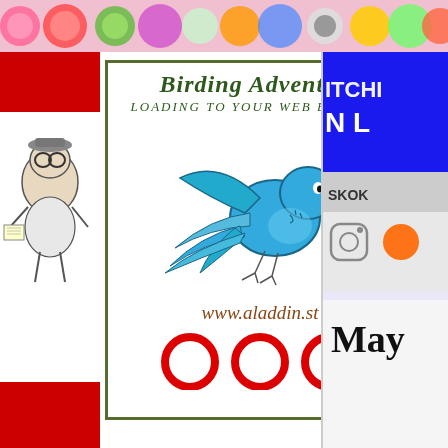[Figure (illustration): Top colorful banner with candy/lollipop decorations and circular shapes in pink, green, blue, red, yellow]
[Figure (illustration): Left sidebar with a sketch illustration of a cartoon bear/character wearing aviator gear, on red background]
Birding Adventure
Loading to your web browser
[Figure (illustration): Blue cartoon bluebird flying with wings spread, yellow beak, on white background]
www.aladdin.st
[Figure (illustration): Three red circles/rings as loading indicators at the bottom of the card]
[Figure (illustration): Right sidebar showing partial text ITCHI and N L, SKOK, Instagram icon, and the word May]
May